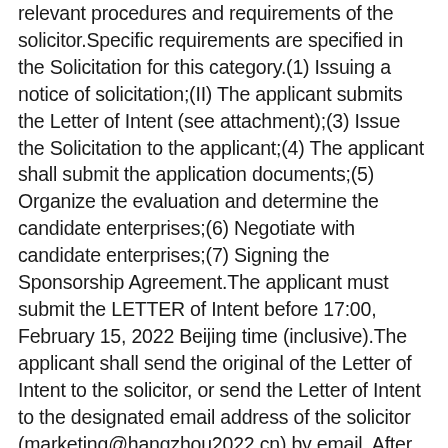relevant procedures and requirements of the solicitor.Specific requirements are specified in the Solicitation for this category.(1) Issuing a notice of solicitation;(II) The applicant submits the Letter of Intent (see attachment);(3) Issue the Solicitation to the applicant;(4) The applicant shall submit the application documents;(5) Organize the evaluation and determine the candidate enterprises;(6) Negotiate with candidate enterprises;(7) Signing the Sponsorship Agreement.The applicant must submit the LETTER of Intent before 17:00, February 15, 2022 Beijing time (inclusive).The applicant shall send the original of the Letter of Intent to the solicitor, or send the Letter of Intent to the designated email address of the solicitor (marketing@hangzhou2022.cn) by email. After the email is sent successfully, the applicant shall timely contact the Marketing Department of the organizing Committee for confirmation.Submission by other means or late submission will not be accepted.Contact: Li Cenjun, Zhang